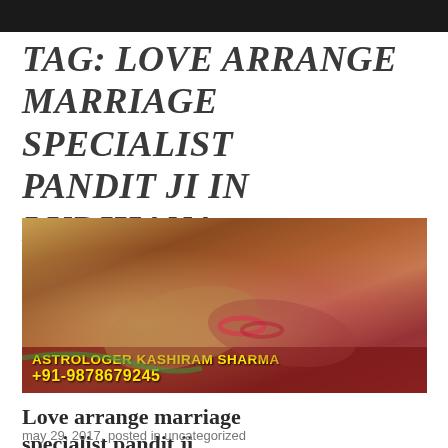TAG: LOVE ARRANGE MARRIAGE SPECIALIST PANDIT JI IN LUDHIANA
[Figure (photo): Photo of two hands clasped together in a traditional Indian wedding setting with bangles and traditional dress. Text overlay reads: LOVE MARRIAAGE SPECIALIST at top, and ASTROLOGER KASHIRAM SHARMA +91-9878679245 at bottom.]
Love arrange marriage specialist pandit ji
may 29, 2017, posted in uncategorized